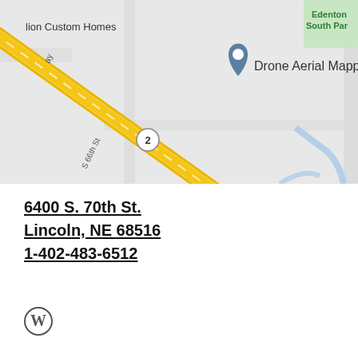[Figure (map): Google Maps screenshot showing the area around 6400 S. 70th St., Lincoln, NE. Visible landmarks include Drone Aerial Mapping, Lincoln Berean Church, Capital Humane Society Pieloch Pet..., Edenton South Par[k], with roads including S 66th St, Ashbrook Dr, and Highway 2 running diagonally.]
6400 S. 70th St.
Lincoln, NE 68516
1-402-483-6512
[Figure (logo): WordPress logo (circular W icon)]